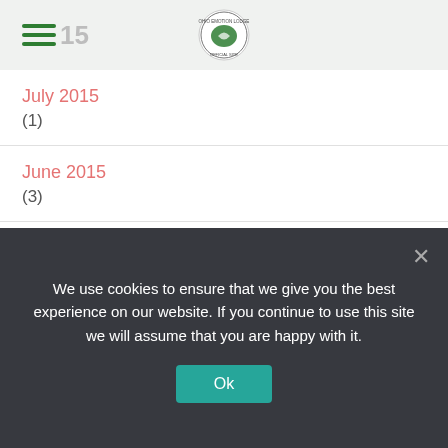2015 [logo]
July 2015 (1)
June 2015 (3)
August 2014 (1)
July 2014 (1)
April 2014
We use cookies to ensure that we give you the best experience on our website. If you continue to use this site we will assume that you are happy with it.